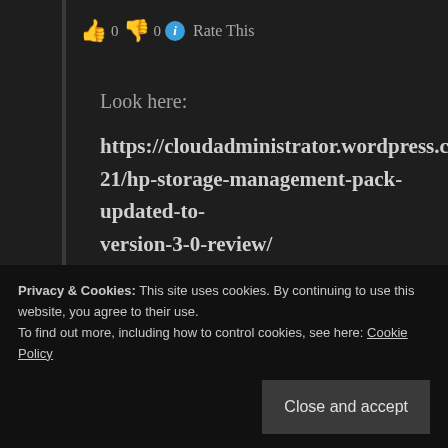👍 0 👎 0 ℹ Rate This
Look here:
https://cloudadministrator.wordpress.com/2012/12/21/hp-storage-management-pack-updated-to-version-3-0-review/
The latest version of HP Storage Management Pack introduces a service that connects to different storage devices in order to get their architecture as diagram in SCOM.
Privacy & Cookies: This site uses cookies. By continuing to use this website, you agree to their use.
To find out more, including how to control cookies, see here: Cookie Policy